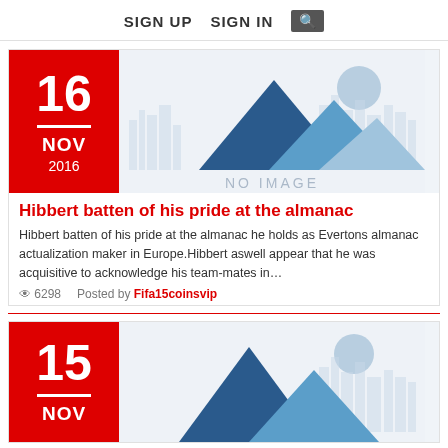SIGN UP   SIGN IN   🔍
[Figure (illustration): No image placeholder with mountain silhouette illustration in blue tones and a light blue circle, text NO IMAGE centered below]
Hibbert batten of his pride at the almanac
Hibbert batten of his pride at the almanac he holds as Evertons almanac actualization maker in Europe.Hibbert aswell appear that he was acquisitive to acknowledge his team-mates in…
👁 6298   Posted by Fifa15coinsvip
[Figure (illustration): No image placeholder with mountain silhouette illustration in blue tones and a light blue circle, partially visible second article card]